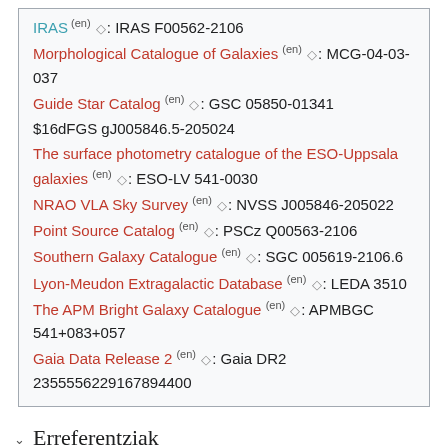IRAS (en) ◇: IRAS F00562-2106
Morphological Catalogue of Galaxies (en) ◇: MCG-04-03-037
Guide Star Catalog (en) ◇: GSC 05850-01341
$16dFGS gJ005846.5-205024
The surface photometry catalogue of the ESO-Uppsala galaxies (en) ◇: ESO-LV 541-0030
NRAO VLA Sky Survey (en) ◇: NVSS J005846-205022
Point Source Catalog (en) ◇: PSCz Q00563-2106
Southern Galaxy Catalogue (en) ◇: SGC 005619-2106.6
Lyon-Meudon Extragalactic Database (en) ◇: LEDA 3510
The APM Bright Galaxy Catalogue (en) ◇: APMBGC 541+083+057
Gaia Data Release 2 (en) ◇: Gaia DR2 2355556229167894400
Erreferentziak